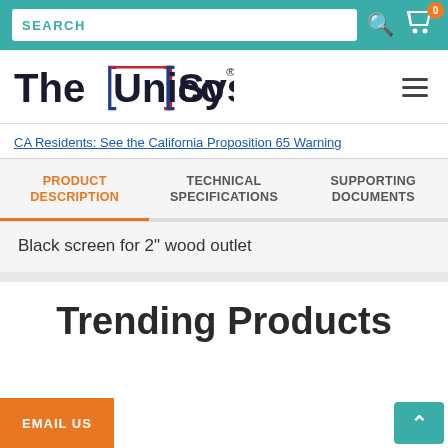SEARCH
[Figure (logo): The Unico System logo with blue and red accents]
CA Residents: See the California Proposition 65 Warning
PRODUCT DESCRIPTION
TECHNICAL SPECIFICATIONS
SUPPORTING DOCUMENTS
Black screen for 2" wood outlet
Trending Products
EMAIL US